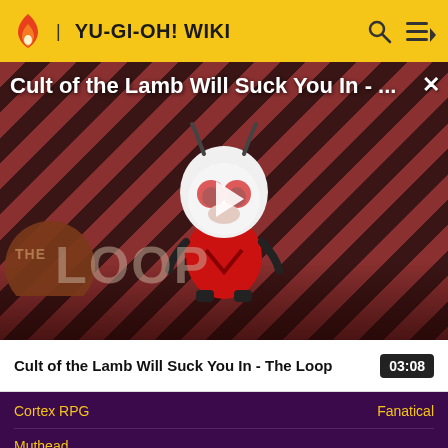YU-GI-OH! WIKI
[Figure (screenshot): Video thumbnail for 'Cult of the Lamb Will Suck You In - The Loop' showing a cartoon lamb character on a red striped background with THE LOOP logo overlay and a play button in the center.]
Cult of the Lamb Will Suck You In - ...
Cult of the Lamb Will Suck You In - The Loop
03:08
Cortex RPG
Fanatical
Muthead